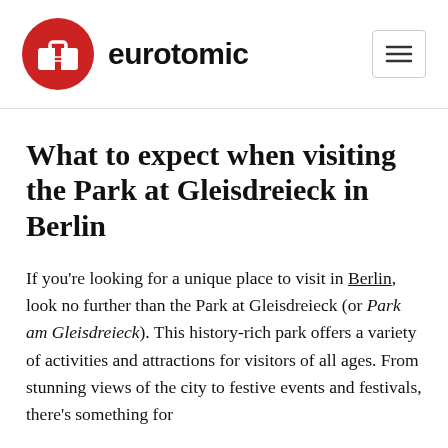eurotomic
What to expect when visiting the Park at Gleisdreieck in Berlin
If you're looking for a unique place to visit in Berlin, look no further than the Park at Gleisdreieck (or Park am Gleisdreieck). This history-rich park offers a variety of activities and attractions for visitors of all ages. From stunning views of the city to festive events and festivals, there's something for everyone.